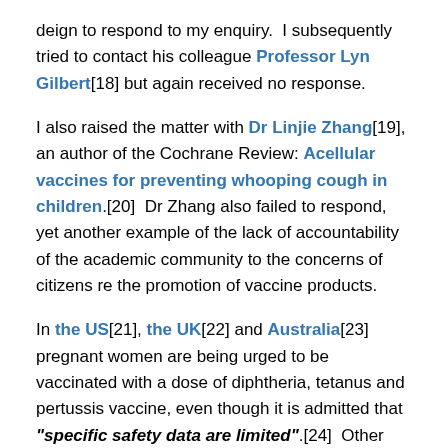deign to respond to my enquiry.  I subsequently tried to contact his colleague Professor Lyn Gilbert[18] but again received no response.
I also raised the matter with Dr Linjie Zhang[19], an author of the Cochrane Review: Acellular vaccines for preventing whooping cough in children.[20]  Dr Zhang also failed to respond, yet another example of the lack of accountability of the academic community to the concerns of citizens re the promotion of vaccine products.
In the US[21], the UK[22] and Australia[23] pregnant women are being urged to be vaccinated with a dose of diphtheria, tetanus and pertussis vaccine, even though it is admitted that "specific safety data are limited".[24]  Other close contacts of young infants are also encouraged to be vaccinated, i.e. the 'cocoon strategy'.[25]  What